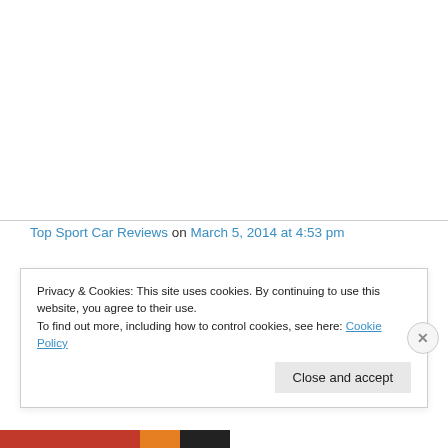Top Sport Car Reviews on March 5, 2014 at 4:53 pm
Hi there would you mind sharing which blog platform you're working with? I'm going to start my own blog soon but I'm having a hard time making a decision between
Privacy & Cookies: This site uses cookies. By continuing to use this website, you agree to their use. To find out more, including how to control cookies, see here: Cookie Policy